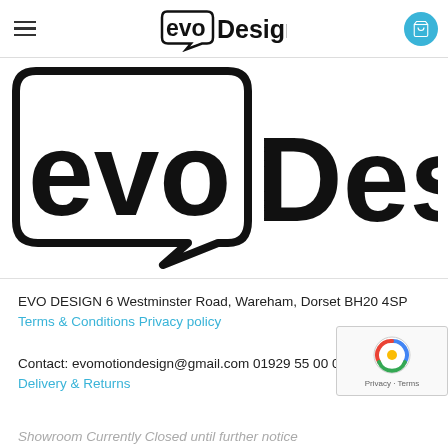evo Design (header navigation with hamburger menu and cart icon)
[Figure (logo): Large evo Design logo — black rounded square speech-bubble shape containing bold lowercase 'evo' text, followed by 'Design' in bold sans-serif]
EVO DESIGN 6 Westminster Road, Wareham, Dorset BH20 4SP Terms & Conditions Privacy policy
Contact: evomotiondesign@gmail.com 01929 55 00 00 Delivery & Returns
Showroom Currently Closed until further notice